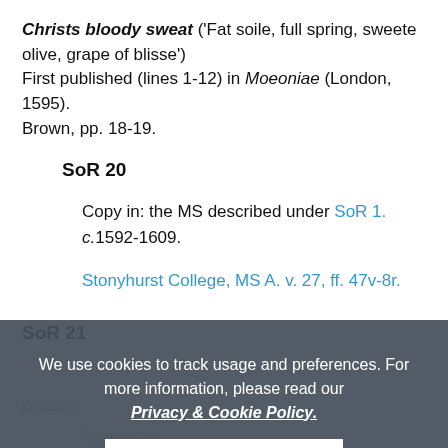Christs bloody sweat ('Fat soile, full spring, sweete olive, grape of blisse') First published (lines 1-12) in Moeoniae (London, 1595). Brown, pp. 18-19.
SoR 20
Copy in: the MS described under SoR 1. c.1592-1609.
Stonyhurst College, MS A. v. 27, ff. 47v-8r.
SoR 21
century.
[faded content]
SoR 22